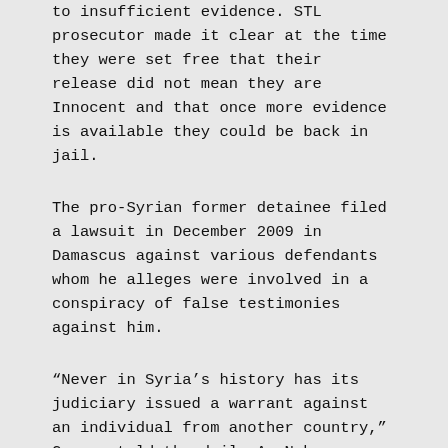to insufficient evidence. STL prosecutor made it clear at the time they were set free that their release did not mean they are Innocent and that once more evidence is available they could be back in jail.
The pro-Syrian former detainee filed a lawsuit in December 2009 in Damascus against various defendants whom he alleges were involved in a conspiracy of false testimonies against him.
“Never in Syria’s history has its judiciary issued a warrant against an individual from another country,” Geagea told the daily An Nahar on Monday.
“This is not the way to reward President Michel Suleiman